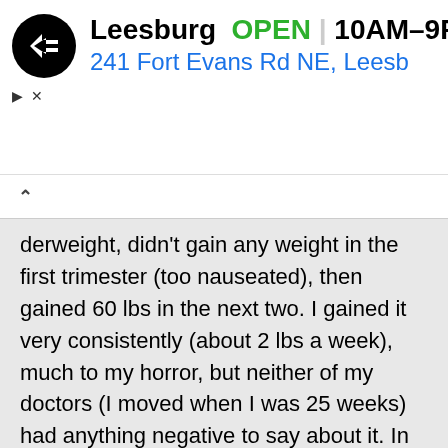[Figure (screenshot): Mobile app advertisement banner for a store in Leesburg. Shows a black circular logo with double arrow icon, text 'Leesburg OPEN 10AM–9PM' and '241 Fort Evans Rd NE, Leesb', with a blue diamond navigation icon. Below the ad are skip/close controls (triangle and X icons).]
derweight, didn't gain any weight in the first trimester (too nauseated), then gained 60 lbs in the next two. I gained it very consistently (about 2 lbs a week), much to my horror, but neither of my doctors (I moved when I was 25 weeks) had anything negative to say about it. In fact, they didn't say anything about it at all (except not to worry when I expressed aforementioned horror). I worked out five days a week and my diet was reasonable overall (I had just moved back to the States, so I may have gone a little nuts with things I couldn't get abroad, like, tacos or good ice cream, but I